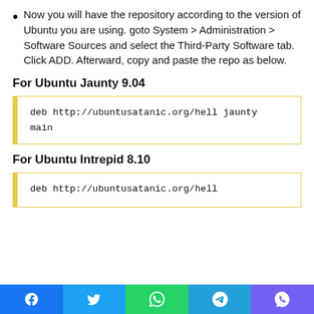Now you will have the repository according to the version of Ubuntu you are using. goto System > Administration > Software Sources and select the Third-Party Software tab. Click ADD. Afterward, copy and paste the repo as below.
For Ubuntu Jaunty 9.04
deb http://ubuntusatanic.org/hell jaunty main
For Ubuntu Intrepid 8.10
deb http://ubuntusatanic.org/hell